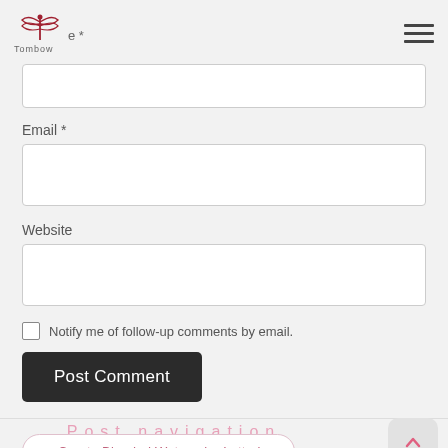Tombow
Email *
[Figure (screenshot): Empty email input text field]
Website
[Figure (screenshot): Empty website input text field]
Notify me of follow-up comments by email.
Post Comment
Post navigation
← Create Blended Watercolor Lettering